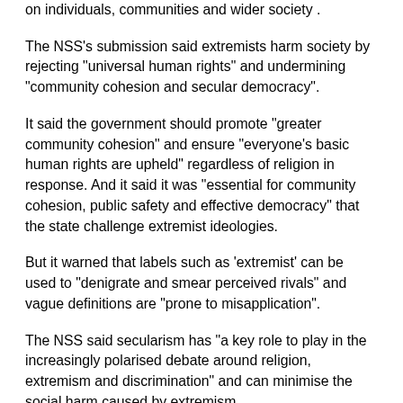on individuals, communities and wider society .
The NSS's submission said extremists harm society by rejecting "universal human rights" and undermining "community cohesion and secular democracy".
It said the government should promote "greater community cohesion" and ensure "everyone's basic human rights are upheld" regardless of religion in response. And it said it was "essential for community cohesion, public safety and effective democracy" that the state challenge extremist ideologies.
But it warned that labels such as 'extremist' can be used to "denigrate and smear perceived rivals" and vague definitions are "prone to misapplication".
The NSS said secularism has "a key role to play in the increasingly polarised debate around religion, extremism and discrimination" and can minimise the social harm caused by extremism.